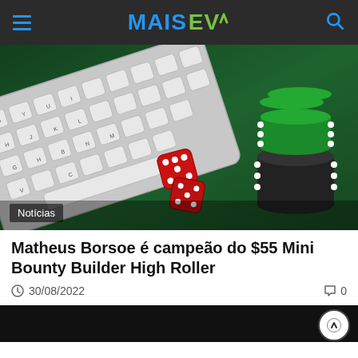MAIS EV
[Figure (photo): Keyboard, red dice, and green/black poker chips on a green felt surface]
Notícias
Matheus Borsoe é campeão do $55 Mini Bounty Builder High Roller
30/08/2022   0